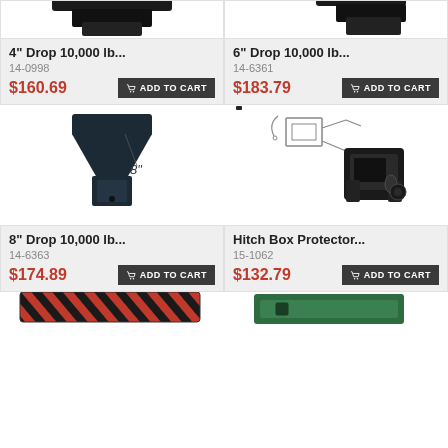[Figure (photo): Partial top view of a black drop hitch ball mount, left product]
[Figure (photo): Partial top view of a black drop hitch ball mount, right product]
4" Drop 10,000 lb...
14-0998
$160.69
6" Drop 10,000 lb...
14-6361
$183.79
[Figure (photo): Black 8" drop hitch ball mount with measurement label '8"']
[Figure (photo): Hitch box protector assembly, line drawing and photo style image]
8" Drop 10,000 lb...
14-6363
$174.89
Hitch Box Protector...
15-1062
$132.79
[Figure (photo): Partial bottom view of a red/black striped product, left]
[Figure (photo): Partial bottom view of a green receiver tube/hitch bar, right]